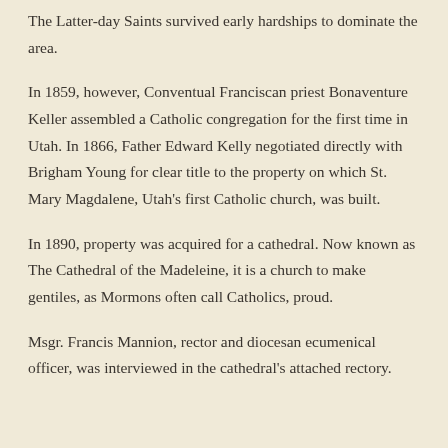The Latter-day Saints survived early hardships to dominate the area.
In 1859, however, Conventual Franciscan priest Bonaventure Keller assembled a Catholic congregation for the first time in Utah. In 1866, Father Edward Kelly negotiated directly with Brigham Young for clear title to the property on which St. Mary Magdalene, Utah's first Catholic church, was built.
In 1890, property was acquired for a cathedral. Now known as The Cathedral of the Madeleine, it is a church to make gentiles, as Mormons often call Catholics, proud.
Msgr. Francis Mannion, rector and diocesan ecumenical officer, was interviewed in the cathedral's attached rectory.